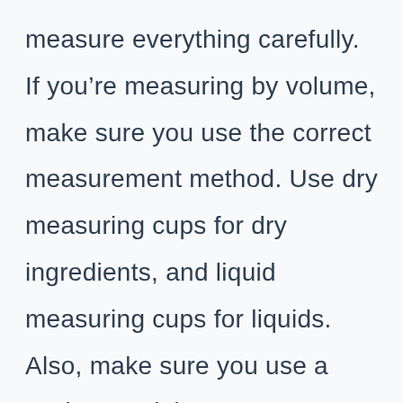measure everything carefully. If you're measuring by volume, make sure you use the correct measurement method. Use dry measuring cups for dry ingredients, and liquid measuring cups for liquids. Also, make sure you use a scale to weigh your ingredients. If you don't have a scale, you can use a set of measuring spoons instead. 2 Have